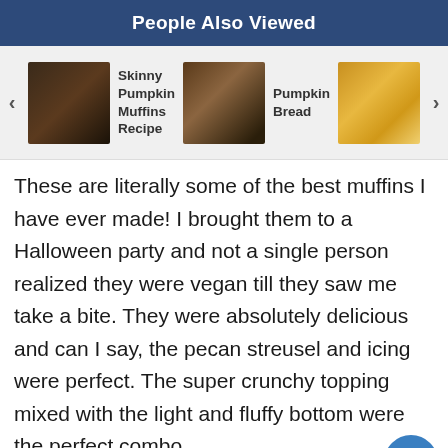People Also Viewed
[Figure (screenshot): Carousel of related recipe links: left arrow, Skinny Pumpkin Muffins Recipe with thumbnail, Pumpkin Bread with thumbnail, Maple Spice (partial) with thumbnail, right arrow]
These are literally some of the best muffins I have ever made! I brought them to a Halloween party and not a single person realized they were vegan till they saw me take a bite. They were absolutely delicious and can I say, the pecan streusel and icing were perfect. The super crunchy topping mixed with the light and fluffy bottom were the perfect combo.
REPLY
JENNIFER @ SHOW ME THE YUMMY